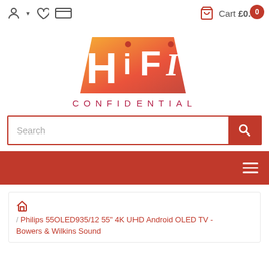Cart £0.00  0
[Figure (logo): HiFi Confidential logo - stylized orange/red gradient 'HiFi' text with 'CONFIDENTIAL' below in crimson letters]
[Figure (screenshot): Search bar with red border and red search button, placeholder text 'Search']
[Figure (screenshot): Red navigation bar with hamburger menu icon on the right]
Home / Philips 55OLED935/12 55" 4K UHD Android OLED TV - Bowers & Wilkins Sound